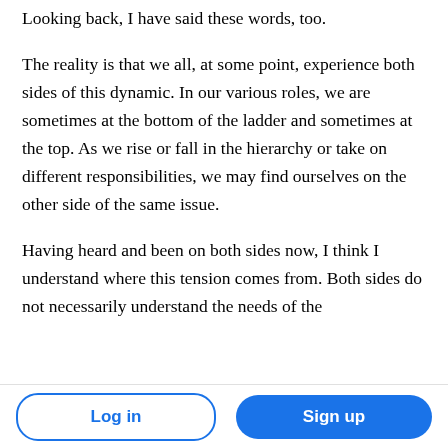Looking back, I have said these words, too.
The reality is that we all, at some point, experience both sides of this dynamic. In our various roles, we are sometimes at the bottom of the ladder and sometimes at the top. As we rise or fall in the hierarchy or take on different responsibilities, we may find ourselves on the other side of the same issue.
Having heard and been on both sides now, I think I understand where this tension comes from. Both sides do not necessarily understand the needs of the
Log in  Sign up